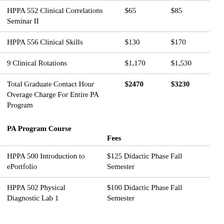| Course | Col2 | Col3 |
| --- | --- | --- |
| HPPA 552 Clinical Correlations Seminar II | $65 | $85 |
| HPPA 556 Clinical Skills | $130 | $170 |
| 9 Clinical Rotations | $1,170 | $1,530 |
| Total Graduate Contact Hour Overage Charge For Entire PA Program | $2470 | $3230 |
PA Program Course
| Course | Fees |
| --- | --- |
| HPPA 500 Introduction to ePortfolio | $125 Didactic Phase Fall Semester |
| HPPA 502 Physical Diagnostic Lab 1 | $100 Didactic Phase Fall Semester |